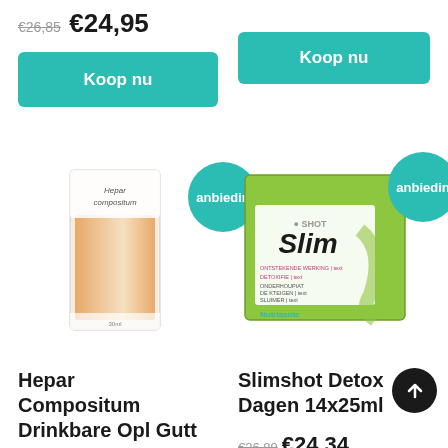€26,85 €24,95
Koop nu
Koop nu
[Figure (photo): Hepar Compositum Drinkbare Opl Gutt product bottle with orange gradient packaging]
anbiedin
[Figure (photo): Slimshot Detox Dagen 14x25ml product box with green packaging and Slim Shot branding by Nutrisante]
anbiedin
Hepar Compositum Drinkbare Opl Gutt
Slimshot Detox Dagen 14x25ml
€24,34